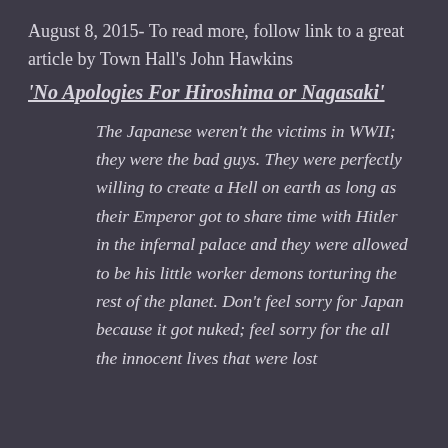August 8, 2015- To read more, follow link to a great article by Town Hall's John Hawkins
‘No Apologies For Hiroshima or Nagasaki’
The Japanese weren’t the victims in WWII; they were the bad guys. They were perfectly willing to create a Hell on earth as long as their Emperor got to share time with Hitler in the infernal palace and they were allowed to be his little worker demons torturing the rest of the planet. Don’t feel sorry for Japan because it got nuked; feel sorry for the all the innocent lives that were lost